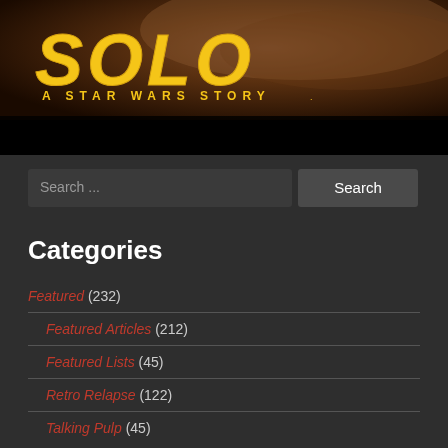[Figure (screenshot): Solo: A Star Wars Story movie logo/banner image with yellow text on dark reddish-brown background]
Search ...
Search
Categories
Featured (232)
Featured Articles (212)
Featured Lists (45)
Retro Relapse (122)
Talking Pulp (45)